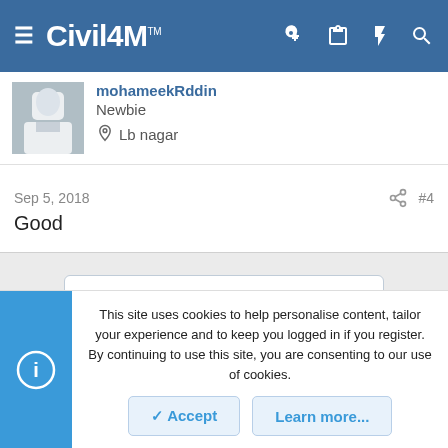Civil4M
mohameekRddin
Newbie
Lb nagar
Sep 5, 2018  #4
Good
You must log in or register to reply here.
This site uses cookies to help personalise content, tailor your experience and to keep you logged in if you register. By continuing to use this site, you are consenting to our use of cookies.